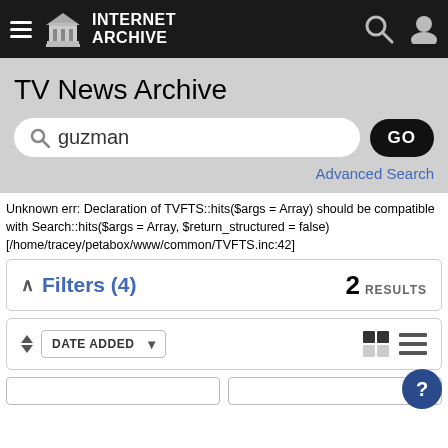INTERNET ARCHIVE
TV News Archive
guzman
Advanced Search
Unknown err: Declaration of TVFTS::hits($args = Array) should be compatible with Search::hits($args = Array, $return_structured = false) [/home/tracey/petabox/www/common/TVFTS.inc:42]
Filters (4)
2 RESULTS
DATE ADDED